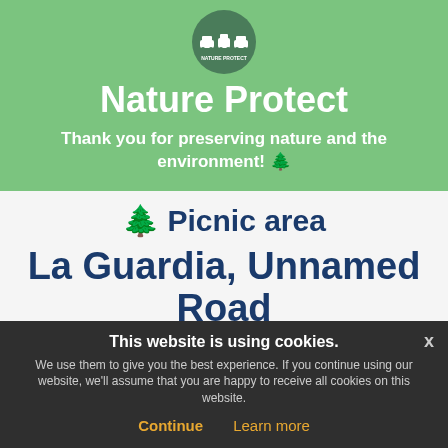[Figure (logo): Nature Protect logo: circular dark green badge with camping vehicle icons and text NATURE PROTECT]
Nature Protect
Thank you for preserving nature and the environment! 🌲
🌲 Picnic area
La Guardia, Unnamed Road
This website is using cookies. We use them to give you the best experience. If you continue using our website, we'll assume that you are happy to receive all cookies on this website.
Continue   Learn more